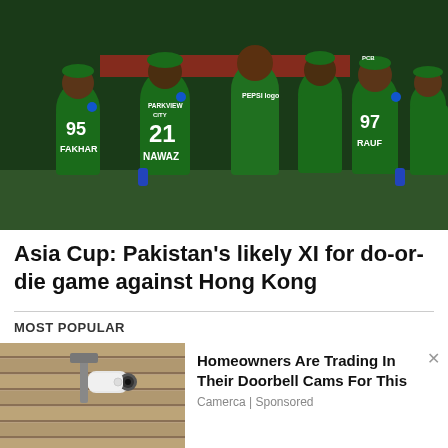[Figure (photo): Pakistan cricket team players in green uniforms with numbers 95 (FAKHAR), 21 (NAWAZ), 97 (RAUF) huddled together on a cricket field during the Asia Cup]
Asia Cup: Pakistan's likely XI for do-or-die game against Hong Kong
MOST POPULAR
[Figure (photo): A home security camera mounted on a wall, resembling a doorbell cam replacement product]
Homeowners Are Trading In Their Doorbell Cams For This
Camerca | Sponsored